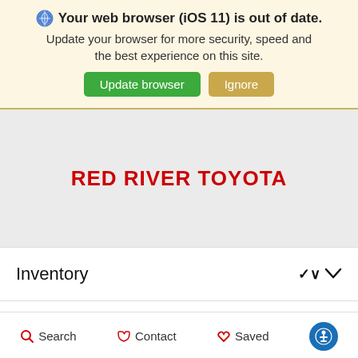Your web browser (iOS 11) is out of date. Update your browser for more security, speed and the best experience on this site.
Update browser | Ignore
RED RIVER TOYOTA
Inventory
Financing
Search | Contact | Saved | (accessibility icon)